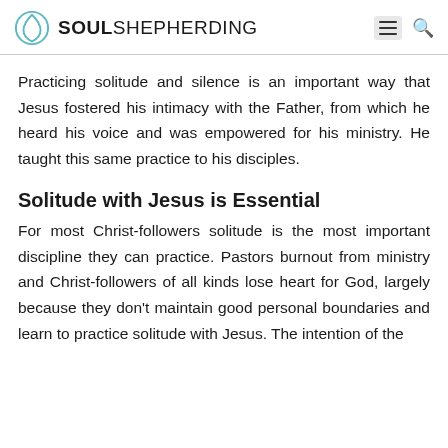SOUL SHEPHERDING
Practicing solitude and silence is an important way that Jesus fostered his intimacy with the Father, from which he heard his voice and was empowered for his ministry. He taught this same practice to his disciples.
Solitude with Jesus is Essential
For most Christ-followers solitude is the most important discipline they can practice. Pastors burnout from ministry and Christ-followers of all kinds lose heart for God, largely because they don't maintain good personal boundaries and learn to practice solitude with Jesus. The intention of the...